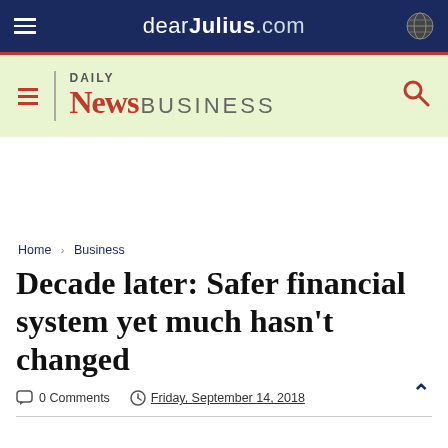dearJulius.com
[Figure (screenshot): Daily News Business navigation bar with hamburger menu, Daily News Business logo in red and grey, and search icon on green background]
Home > Business
Decade later: Safer financial system yet much hasn't changed
0 Comments   Friday, September 14, 2018